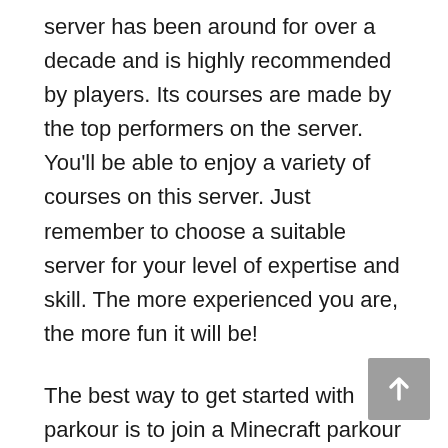server has been around for over a decade and is highly recommended by players. Its courses are made by the top performers on the server. You'll be able to enjoy a variety of courses on this server. Just remember to choose a suitable server for your level of expertise and skill. The more experienced you are, the more fun it will be!
The best way to get started with parkour is to join a Minecraft parkour server.
Choosing the right server is very important. Not only should you find a server that suits your skills, but you should also check out those that